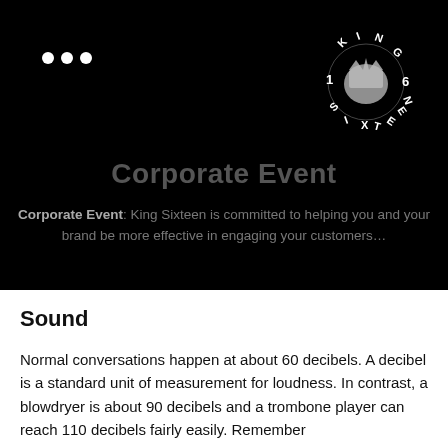[Figure (logo): King Sixteen logo — circular arrangement of letters K, I, N, G, 1, 6, S, I, X, T, E, E, N around a crown illustration]
Corporate Event
Corporate Event: King Sixteen is committed to helping you and your brand be more effective in engaging your customers…
Sound
Normal conversations happen at about 60 decibels. A decibel is a standard unit of measurement for loudness. In contrast, a blowdryer is about 90 decibels and a trombone player can reach 110 decibels fairly easily. Remember